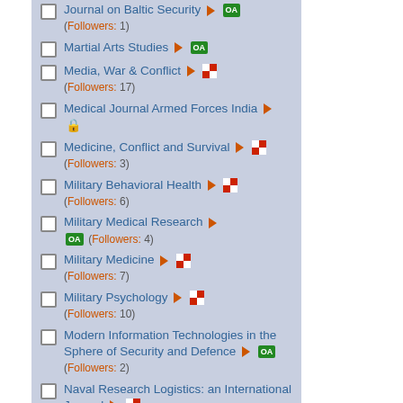Journal on Baltic Security ► OA (Followers: 1)
Martial Arts Studies ► OA
Media, War & Conflict ► [red] (Followers: 17)
Medical Journal Armed Forces India ► [lock]
Medicine, Conflict and Survival ► [red] (Followers: 3)
Military Behavioral Health ► [red] (Followers: 6)
Military Medical Research ► OA (Followers: 4)
Military Medicine ► [red] (Followers: 7)
Military Psychology ► [red] (Followers: 10)
Modern Information Technologies in the Sphere of Security and Defence ► OA (Followers: 2)
Naval Research Logistics: an International Journal ► [red]
Navigator ► OA (Followers: